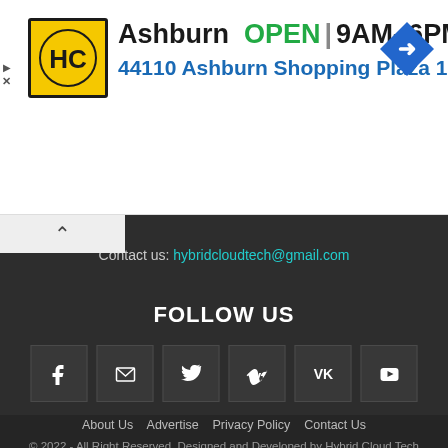[Figure (infographic): Advertisement banner for Ashburn store showing HC logo, OPEN status, hours 9AM-6PM, address 44110 Ashburn Shopping Plaza 1., and navigation arrow icon. Has close (X) and skip controls.]
[Figure (infographic): Dark-themed website footer section with contact email, Follow Us heading, six social media icon buttons (Facebook, Email, Twitter, Vimeo, VK, YouTube), navigation links (About Us, Advertise, Privacy Policy, Contact Us), and copyright notice.]
Contact us: hybridcloudtech@gmail.com
FOLLOW US
About Us   Advertise   Privacy Policy   Contact Us
© 2022 - All Right Reserved. Designed and Developed by Hybrid Cloud Tech Team